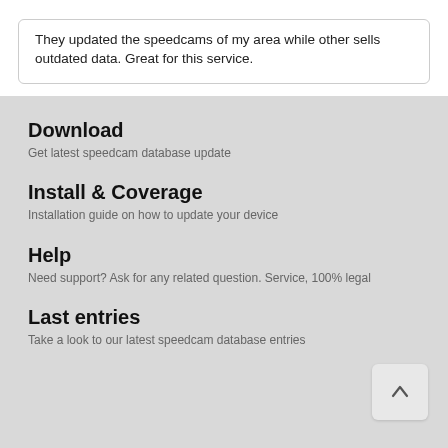They updated the speedcams of my area while other sells outdated data. Great for this service.
Download
Get latest speedcam database update
Install & Coverage
Installation guide on how to update your device
Help
Need support? Ask for any related question. Service, 100% legal
Last entries
Take a look to our latest speedcam database entries